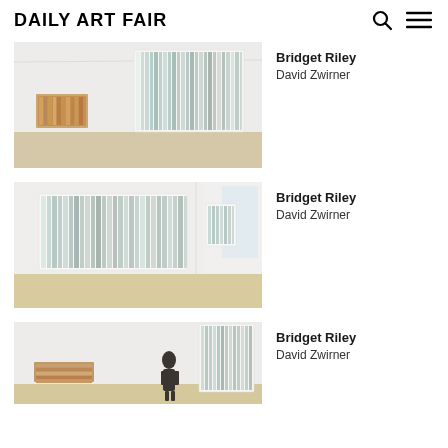Daily Art Fair
[Figure (photo): Gallery installation photo showing Bridget Riley striped artworks at David Zwirner]
Bridget Riley
David Zwirner
[Figure (photo): Gallery installation photo showing Bridget Riley striped artworks at David Zwirner]
Bridget Riley
David Zwirner
[Figure (photo): Gallery installation photo showing Bridget Riley striped artworks at David Zwirner]
Bridget Riley
David Zwirner